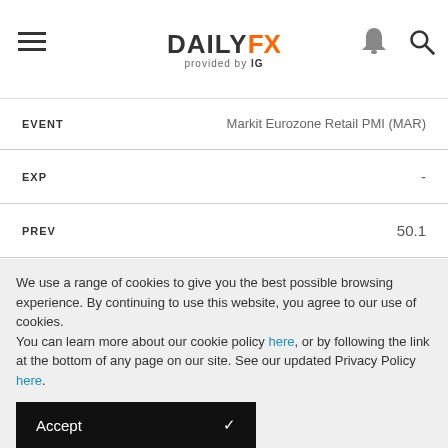DAILYFX provided by IG
| Field | Value |
| --- | --- |
| EVENT | Markit Eurozone Retail PMI (MAR) |
| EXP | - |
| PREV | 50.1 |
| IMPACT | Medium |
| GMT | 8:10 |
We use a range of cookies to give you the best possible browsing experience. By continuing to use this website, you agree to our use of cookies.
You can learn more about our cookie policy here, or by following the link at the bottom of any page on our site. See our updated Privacy Policy here.
Accept